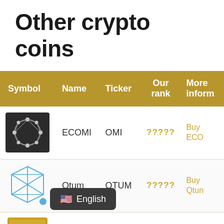Other crypto coins
| Symbol | Name | Ticker | Our rank | More inform |
| --- | --- | --- | --- | --- |
| [ECOMI logo] | ECOMI | OMI | ????? | Buy ECO... |
| [Qtum logo] | Qtum | QTUM | ????? | Buy Qtum... |
| [image] | ...k | WIN | ????? | Buy WIN... |